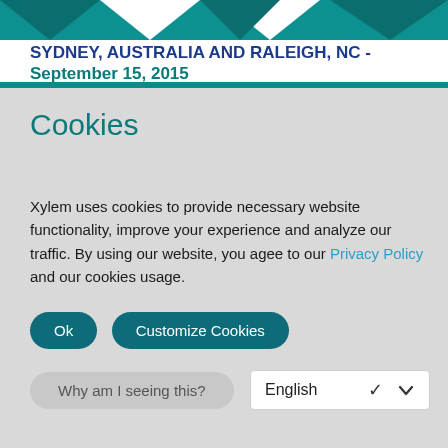[Figure (illustration): Teal decorative banner with triangular shapes at the top of the page]
SYDNEY, AUSTRALIA AND RALEIGH, NC -
September 15, 2015
Cookies
Xylem uses cookies to provide necessary website functionality, improve your experience and analyze our traffic. By using our website, you agee to our Privacy Policy and our cookies usage.
Ok
Customize Cookies
Why am I seeing this?
English